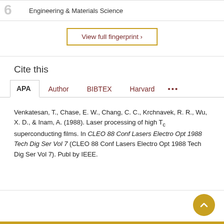Engineering & Materials Science
View full fingerprint >
Cite this
APA  Author  BIBTEX  Harvard  ...
Venkatesan, T., Chase, E. W., Chang, C. C., Krchnavek, R. R., Wu, X. D., & Inam, A. (1988). Laser processing of high Tc superconducting films. In CLEO 88 Conf Lasers Electro Opt 1988 Tech Dig Ser Vol 7 (CLEO 88 Conf Lasers Electro Opt 1988 Tech Dig Ser Vol 7). Publ by IEEE.